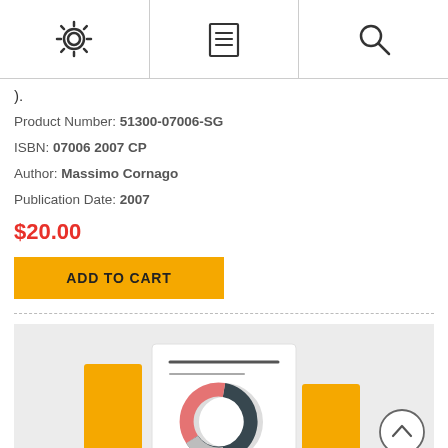[Figure (screenshot): Top navigation bar with three icons: gear/settings icon, document/menu icon, and search/magnifying glass icon]
).
Product Number: 51300-07006-SG
ISBN: 07006 2007 CP
Author: Massimo Cornago
Publication Date: 2007
$20.00
ADD TO CART
[Figure (illustration): Illustration showing a donut/pie chart with dark teal, orange/red, and gray segments on a white card, flanked by two yellow rectangles on a gray background]